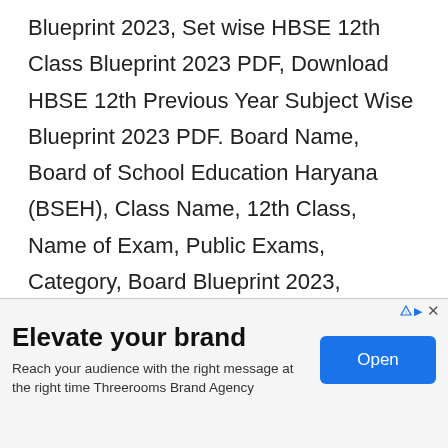Blueprint 2023, Set wise HBSE 12th Class Blueprint 2023 PDF, Download HBSE 12th Previous Year Subject Wise Blueprint 2023 PDF. Board Name, Board of School Education Haryana (BSEH), Class Name, 12th Class, Name of Exam, Public Exams, Category, Board Blueprint 2023, Location, Haryana, Official Site, bseh.org.in,
Visit the Official Website of Haryana Board
[Figure (other): Advertisement banner: 'Elevate your brand' with subtext 'Reach your audience with the right message at the right time Threerooms Brand Agency' and an 'Open' button. Includes AdChoices icon and close button.]